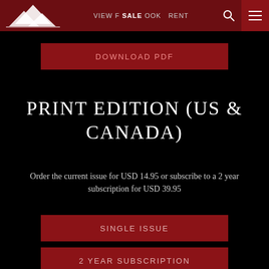VIEW F SALE OOK RENT
DOWNLOAD PDF
PRINT EDITION (US & CANADA)
Order the current issue for USD 14.95 or subscribe to a 2 year subscription for USD 39.95
SINGLE ISSUE
2 YEAR SUBSCRIPTION